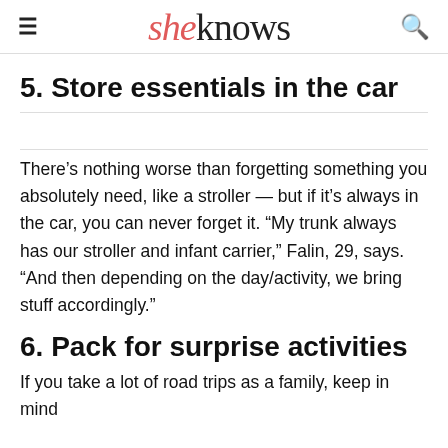sheknows
5. Store essentials in the car
There’s nothing worse than forgetting something you absolutely need, like a stroller — but if it’s always in the car, you can never forget it. “My trunk always has our stroller and infant carrier,” Falin, 29, says. “And then depending on the day/activity, we bring stuff accordingly.”
6. Pack for surprise activities
If you take a lot of road trips as a family, keep in mind